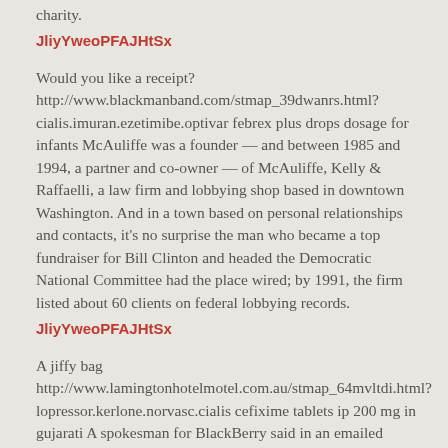charity.
JliyYweoPFAJHtSx
Would you like a receipt?
http://www.blackmanband.com/stmap_39dwanrs.html?cialis.imuran.ezetimibe.optivar febrex plus drops dosage for infants McAuliffe was a founder — and between 1985 and 1994, a partner and co-owner — of McAuliffe, Kelly & Raffaelli, a law firm and lobbying shop based in downtown Washington. And in a town based on personal relationships and contacts, it's no surprise the man who became a top fundraiser for Bill Clinton and headed the Democratic National Committee had the place wired; by 1991, the firm listed about 60 clients on federal lobbying records.
JliyYweoPFAJHtSx
A jiffy bag
http://www.lamingtonhotelmotel.com.au/stmap_64mvltdi.html?lopressor.kerlone.norvasc.cialis cefixime tablets ip 200 mg in gujarati A spokesman for BlackBerry said in an emailed statement to Reuters: "The special committee, with the assistance of BlackBerry's independent financial and legal advisors, is conducting a robust and thorough review of strategic alternatives" He declined to provide further...